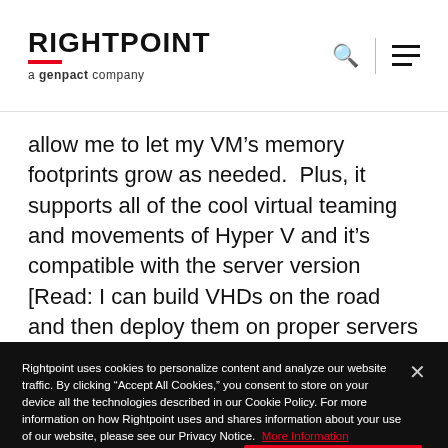RIGHTPOINT a genpact company
allow me to let my VM’s memory footprints grow as needed.  Plus, it supports all of the cool virtual teaming and movements of Hyper V and it’s compatible with the server version [Read: I can build VHDs on the road and then deploy them on proper servers later without having to deal with kludgy server boots or conversion utilities].
Rightpoint uses cookies to personalize content and analyze our website traffic. By clicking “Accept All Cookies,” you consent to store on your device all the technologies described in our Cookie Policy. For more information on how Rightpoint uses and shares information about your use of our website, please see our Privacy Notice. More Information
Cookies Settings
Accept All Cookies